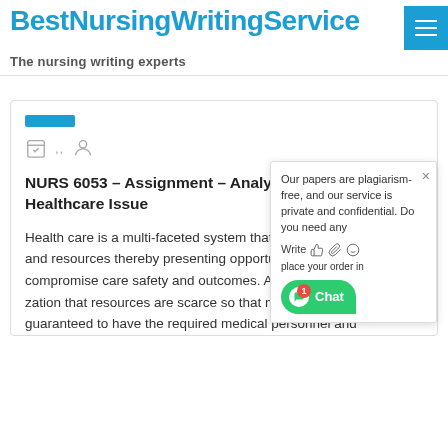BestNursingWritingService
The nursing writing experts
NURS 6053 – Assignment – Analysis of a Pertinent Healthcare Issue
Health care is a multi-faceted system that involves stakeholders and resources thereby presenting opportunities for issues that compromise care safety and outcomes. A key concern is the realization that resources are scarce so that medical facilities are not guaranteed to have the required medical personnel and